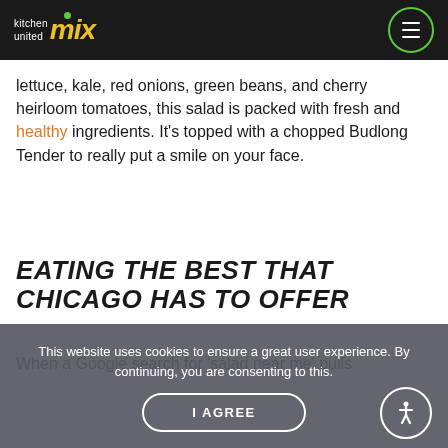kitchen united mix
lettuce, kale, red onions, green beans, and cherry heirloom tomatoes, this salad is packed with fresh and healthy ingredients. It's topped with a chopped Budlong Tender to really put a smile on your face.
EATING THE BEST THAT CHICAGO HAS TO OFFER
When a Google search for 'salad near me' pulls
This website uses cookies to ensure a great user experience. By continuing, you are consenting to this.